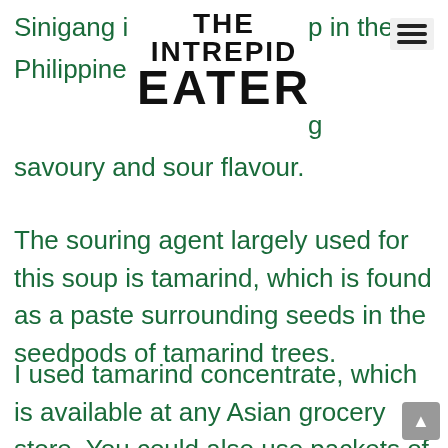THE INTREPID EATER
Sinigang i p in the Philippine g savoury and sour flavour.
The souring agent largely used for this soup is tamarind, which is found as a paste surrounding seeds in the seedpods of tamarind trees.
I used tamarind concentrate, which is available at any Asian grocery store. You could also use packets of sinigang